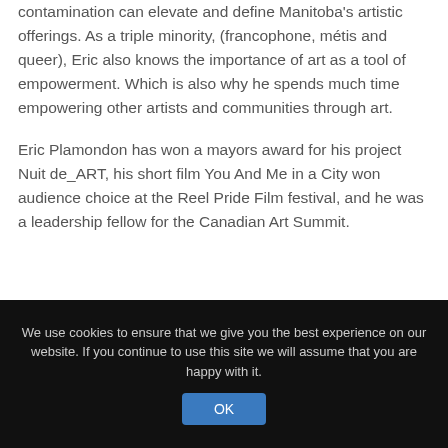contamination can elevate and define Manitoba's artistic offerings. As a triple minority, (francophone, métis and queer), Eric also knows the importance of art as a tool of empowerment. Which is also why he spends much time empowering other artists and communities through art.
Eric Plamondon has won a mayors award for his project Nuit de_ART, his short film You And Me in a City won audience choice at the Reel Pride Film festival, and he was a leadership fellow for the Canadian Art Summit.
We use cookies to ensure that we give you the best experience on our website. If you continue to use this site we will assume that you are happy with it.